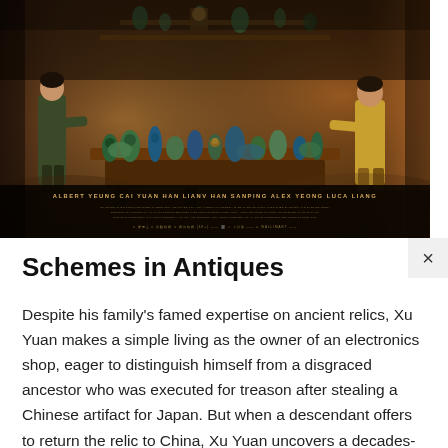[Figure (photo): Movie poster/banner for 'Schemes in Antiques' showing two figures facing each other across a table laden with antiques and porcelain vases in a dark, atmospheric setting. Credits at the bottom list Albert Yeung, Cai Yuan, Han Lianv, Han Sanping, Alex Yeong, Luca Liang. A close/X button appears at the top right corner.]
Schemes in Antiques
Despite his family's famed expertise on ancient relics, Xu Yuan makes a simple living as the owner of an electronics shop, eager to distinguish himself from a disgraced ancestor who was executed for treason after stealing a Chinese artifact for Japan. But when a descendant offers to return the relic to China, Xu Yuan uncovers a decades-